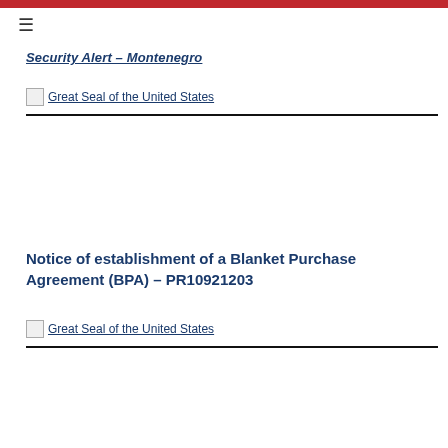≡
Security Alert – Montenegro
[Figure (illustration): Great Seal of the United States placeholder image with broken image icon]
Notice of establishment of a Blanket Purchase Agreement (BPA) – PR10921203
[Figure (illustration): Great Seal of the United States placeholder image with broken image icon]